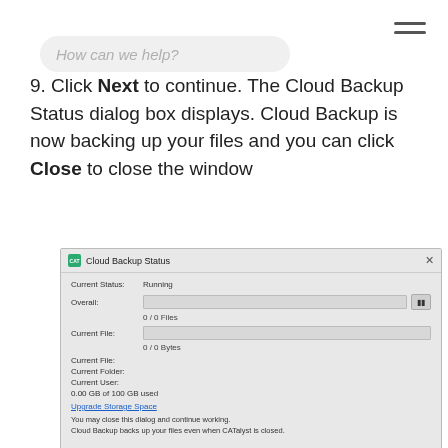How can we help?
9. Click Next to continue. The Cloud Backup Status dialog box displays. Cloud Backup is now backing up your files and you can click Close to close the window
[Figure (screenshot): Cloud Backup Status dialog box showing Current Status: Running, Overall progress bar with pause button, 0/0 Files, Current File progress bar, 0/0 Bytes, Current File, Current Folder, Current User fields, 0.00 GB of 100 GB used, Upgrade Storage Space link, notice text, and buttons: Settings, Restore Files, Close]